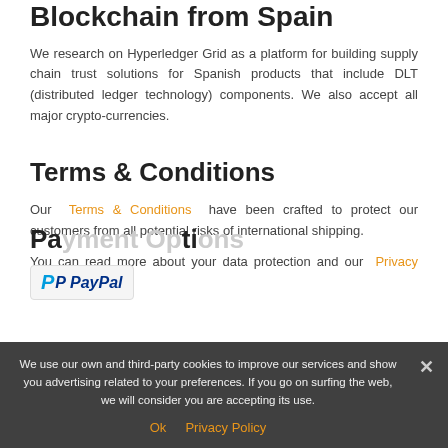Blockchain from Spain
We research on Hyperledger Grid as a platform for building supply chain trust solutions for Spanish products that include DLT (distributed ledger technology) components. We also accept all major crypto-currencies.
Terms & Conditions
Our Terms & Conditions have been crafted to protect our customers from all potential risks of international shipping.
You can read more about your data protection and our Privacy policy here.
Payment Options
[Figure (logo): PayPal logo]
We use our own and third-party cookies to improve our services and show you advertising related to your preferences. If you go on surfing the web, we will consider you are accepting its use.
Ok  Privacy Policy